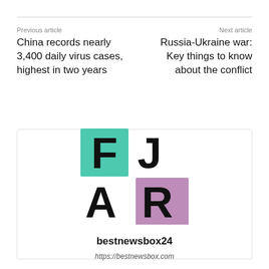Previous article
China records nearly 3,400 daily virus cases, highest in two years
Next article
Russia-Ukraine war: Key things to know about the conflict
[Figure (logo): FJAR logo with teal square behind F, purple square behind R, and letters A and J without backgrounds. Site name bestnewsbox24 and URL https://bestnewsbox.com displayed below.]